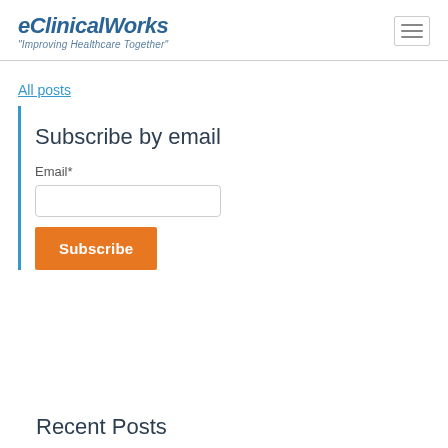eClinicalWorks "Improving Healthcare Together"
All posts
Subscribe by email
Email*
Subscribe
Recent Posts